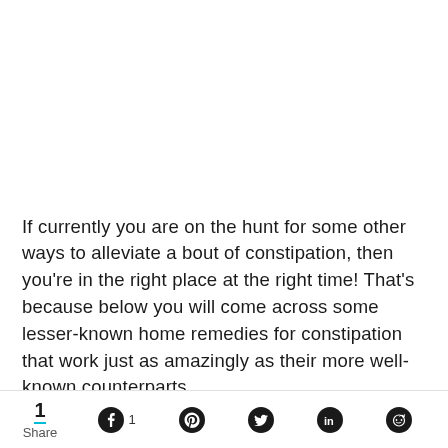If currently you are on the hunt for some other ways to alleviate a bout of constipation, then you're in the right place at the right time! That's because below you will come across some lesser-known home remedies for constipation that work just as amazingly as their more well-known counterparts.
Certainly, it's no fun if you're the only one who has
1 Share  [Facebook] 1  [Pinterest]  [Twitter]  in [LinkedIn]  [Reddit]